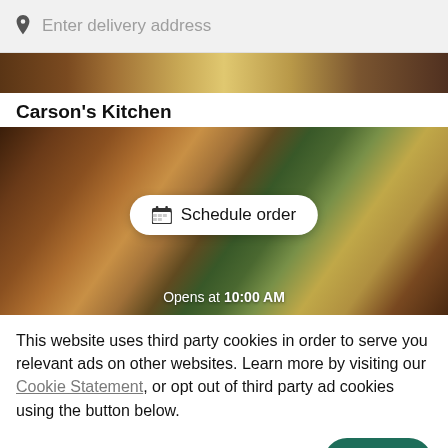Enter delivery address
[Figure (photo): Partial food photo strip at top]
Carson's Kitchen
[Figure (photo): Hero food photo showing various dishes with a 'Schedule order' button overlay and 'Opens at 10:00 AM' text]
This website uses third party cookies in order to serve you relevant ads on other websites. Learn more by visiting our Cookie Statement, or opt out of third party ad cookies using the button below.
OPT OUT
GOT IT